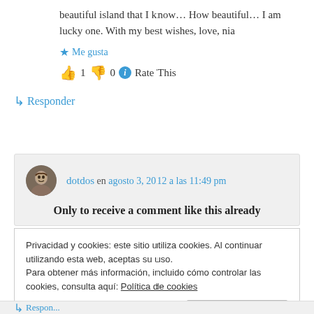beautiful island that I know… How beautiful… I am lucky one. With my best wishes, love, nia
★ Me gusta
👍 1 👎 0 ℹ Rate This
↳ Responder
dotdos en agosto 3, 2012 a las 11:49 pm
Only to receive a comment like this already
Privacidad y cookies: este sitio utiliza cookies. Al continuar utilizando esta web, aceptas su uso.
Para obtener más información, incluido cómo controlar las cookies, consulta aquí: Política de cookies
Cerrar y aceptar